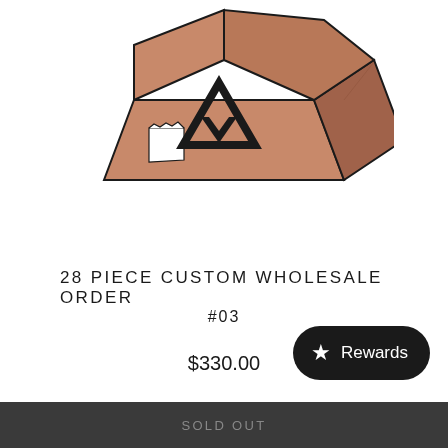[Figure (illustration): Illustrated open cardboard shipping box with a branded triangular logo (arrow/chevron pointing down) on the front face, and a torn shipping label on the left side. Box is brown with visible interior and open flaps at the top.]
28 PIECE CUSTOM WHOLESALE ORDER
#03
$330.00
Rewards
SOLD OUT